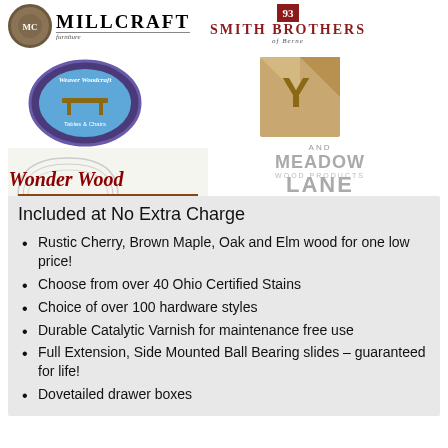[Figure (logo): Millcraft furniture logo with circular emblem and text]
[Figure (logo): Smith Brothers of Berne logo]
[Figure (logo): Weaver Woodcraft Tables and Chairs circular badge logo]
[Figure (logo): YT and Meadow Lane Wood Products logo]
[Figure (logo): Wonder Wood - Creators of Fine Hardwood Furniture logo]
Included at No Extra Charge
Rustic Cherry, Brown Maple, Oak and Elm wood for one low price!
Choose from over 40 Ohio Certified Stains
Choice of over 100 hardware styles
Durable Catalytic Varnish for maintenance free use
Full Extension, Side Mounted Ball Bearing slides – guaranteed for life!
Dovetailed drawer boxes